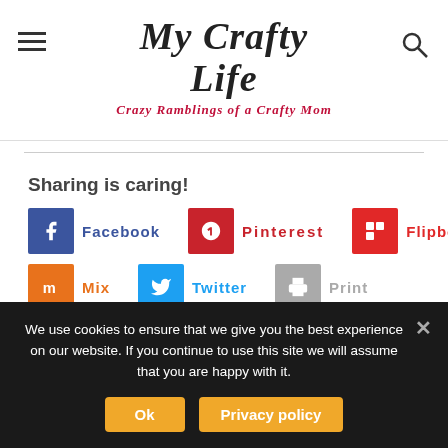My Crafty Life – Crazy Ramblings of a Crafty Mom
Sharing is caring!
Facebook
Pinterest
Flipboard
Mix
Twitter
Print
We use cookies to ensure that we give you the best experience on our website. If you continue to use this site we will assume that you are happy with it.
Ok | Privacy policy